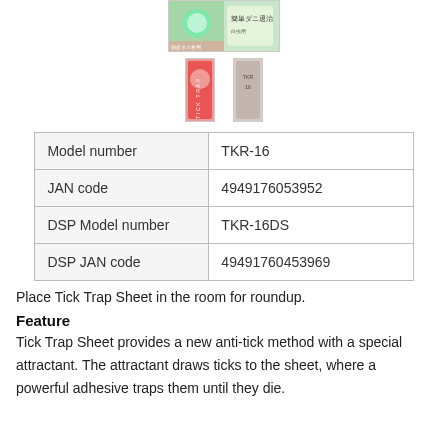[Figure (photo): Product images: main product box (Japanese text, green/yellow design) and two smaller thumbnail images of the product packaging]
| Model number | TKR-16 |
| JAN code | 4949176053952 |
| DSP Model number | TKR-16DS |
| DSP JAN code | 49491760453969 |
Place Tick Trap Sheet in the room for roundup.
Feature
Tick Trap Sheet provides a new anti-tick method with a special attractant. The attractant draws ticks to the sheet, where a powerful adhesive traps them until they die.